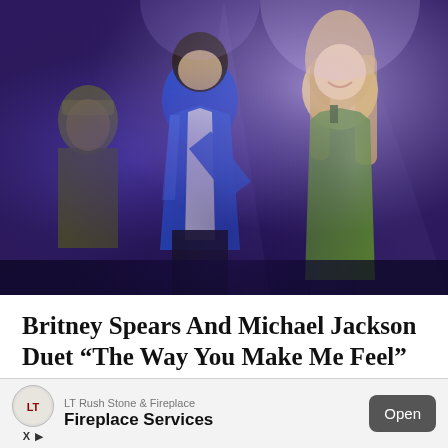[Figure (photo): Photo of Michael Jackson in a blue jacket and white shirt performing on stage with Britney Spears in a green sequined dress, a third performer visible in the background on the left.]
Britney Spears And Michael Jackson Duet “The Way You Make Me Feel”
If you think of some of the biggest names in pop music in the 90s, Michael Jackson and Britney Spea[rs are inevitably on that list. Both are Read...]
[Figure (other): Advertisement banner: LT Rush Stone & Fireplace - Fireplace Services - Open button]